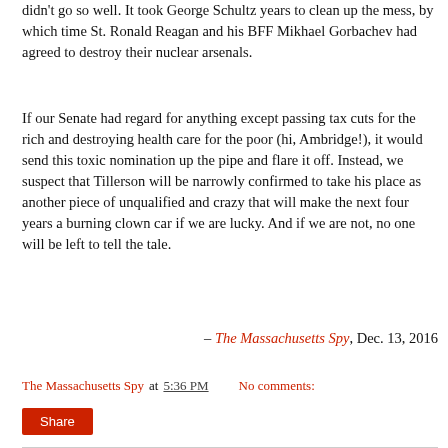didn't go so well. It took George Schultz years to clean up the mess, by which time St. Ronald Reagan and his BFF Mikhael Gorbachev had agreed to destroy their nuclear arsenals.
If our Senate had regard for anything except passing tax cuts for the rich and destroying health care for the poor (hi, Ambridge!), it would send this toxic nomination up the pipe and flare it off. Instead, we suspect that Tillerson will be narrowly confirmed to take his place as another piece of unqualified and crazy that will make the next four years a burning clown car if we are lucky. And if we are not, no one will be left to tell the tale.
– The Massachusetts Spy, Dec. 13, 2016
The Massachusetts Spy at 5:36 PM   No comments:
Share